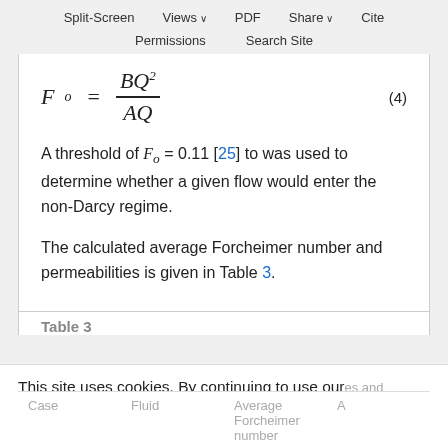Split-Screen  Views  PDF  Share  Cite  Permissions  Search Site
A threshold of F_o = 0.11 [25] to was used to determine whether a given flow would enter the non-Darcy regime.
The calculated average Forcheimer number and permeabilities is given in Table 3.
Table 3
This site uses cookies. By continuing to use our website, you are agreeing to our privacy policy. Accept
| Case | Fluid | Average Forcheimer number | A |
| --- | --- | --- | --- |